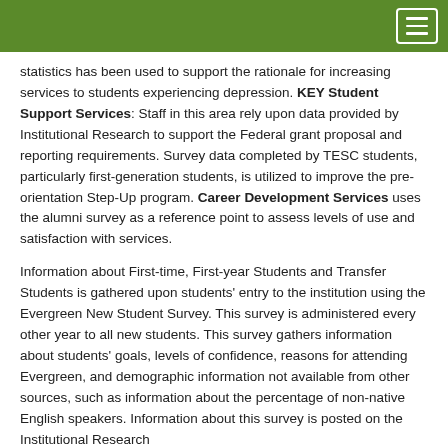statistics has been used to support the rationale for increasing services to students experiencing depression. KEY Student Support Services: Staff in this area rely upon data provided by Institutional Research to support the Federal grant proposal and reporting requirements. Survey data completed by TESC students, particularly first-generation students, is utilized to improve the pre-orientation Step-Up program. Career Development Services uses the alumni survey as a reference point to assess levels of use and satisfaction with services.
Information about First-time, First-year Students and Transfer Students is gathered upon students' entry to the institution using the Evergreen New Student Survey. This survey is administered every other year to all new students. This survey gathers information about students' goals, levels of confidence, reasons for attending Evergreen, and demographic information not available from other sources, such as information about the percentage of non-native English speakers. Information about this survey is posted on the Institutional Research